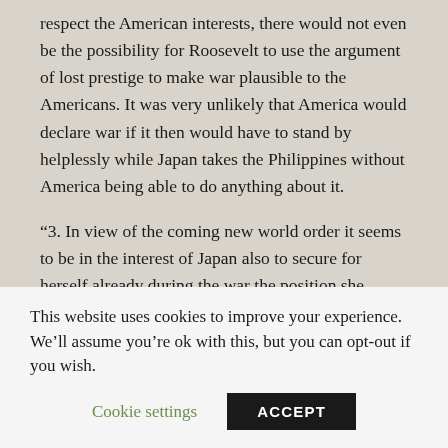respect the American interests, there would not even be the possibility for Roosevelt to use the argument of lost prestige to make war plausible to the Americans. It was very unlikely that America would declare war if it then would have to stand by helplessly while Japan takes the Philippines without America being able to do anything about it.
“3. In view of the coming new world order it seems to be in the interest of Japan also to secure for herself already during the war the position she wants to hold in the Far East at the time of a peace treaty. Ambassador Oshima agreed with me entirely and said that
This website uses cookies to improve your experience. We’ll assume you’re ok with this, but you can opt-out if you wish.
Cookie settings | ACCEPT